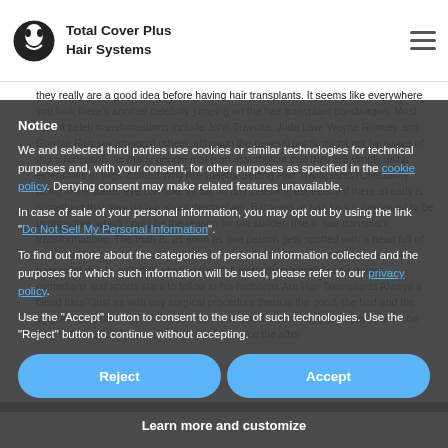Total Cover Plus Hair Systems
they really are a good idea before having hair transplants. It seems like everywhere you look there's another celebrity jumping on the hair transplant bandwagon. Most recent celeb transformations include John Travolta, Jude Law, Wayne Rooney and Gordon Ramsay amongst others, although the general public might not be aware of this information, as many people make an assumption that they are simply using extensions or wigs instead. Why Are Celebs Getting Hair Transplants? Constantly being in the public eye can take its toll on any celebrity, especially if there already is something that they dislike about themselves. Baldness or hair loss is perceived to be unattractive, which could be the reason for the sudden rise in hair transplant transformations. The truth is, as soon as one person gets spotted with a head full of new hair it's bound to spark a trend. So, when John Cleese admitted he had a hair transplant due to an 'oddly shaped head', it instantly prompted other actors, comedians and sports stars to follow in his footsteps. Are Hair Transplants Always a Good Idea? Just as with any surgical procedure there is the good, the bad and the ugly. Although we may not be able to see the bad and the ugly just now, it won't be long before all of these celebrities start to notice the after
Notice

We and selected third parties use cookies or similar technologies for technical purposes and, with your consent, for other purposes as specified in the cookie policy. Denying consent may make related features unavailable.

In case of sale of your personal information, you may opt out by using the link "Do Not Sell My Personal Information".

To find out more about the categories of personal information collected and the purposes for which such information will be used, please refer to our privacy policy.

Use the "Accept" button to consent to the use of such technologies. Use the "Reject" button to continue without accepting.
Reject
Accept
Learn more and customize